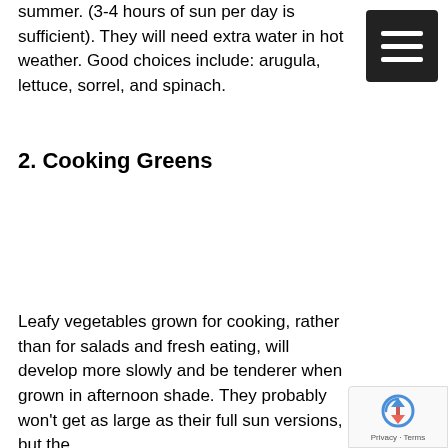summer. (3-4 hours of sun per day is sufficient). They will need extra water in hot weather. Good choices include: arugula, lettuce, sorrel, and spinach.
[Figure (other): Hamburger menu icon — three horizontal white lines on a dark/black square background, top-right corner]
2. Cooking Greens
Leafy vegetables grown for cooking, rather than for salads and fresh eating, will develop more slowly and be tenderer when grown in afternoon shade. They probably won't get as large as their full sun versions, but the
[Figure (other): Google reCAPTCHA badge in bottom-right corner showing the reCAPTCHA logo and 'Privacy · Terms' text]